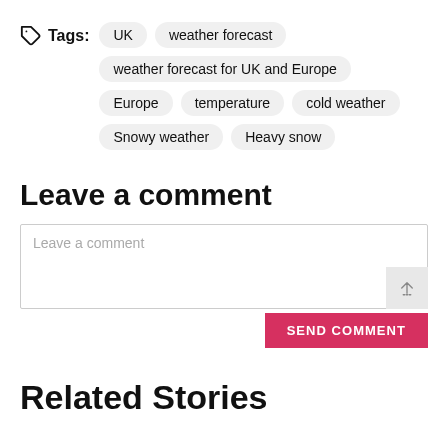Tags: UK  weather forecast  weather forecast for UK and Europe  Europe  temperature  cold weather  Snowy weather  Heavy snow
Leave a comment
Leave a comment
SEND COMMENT
Related Stories